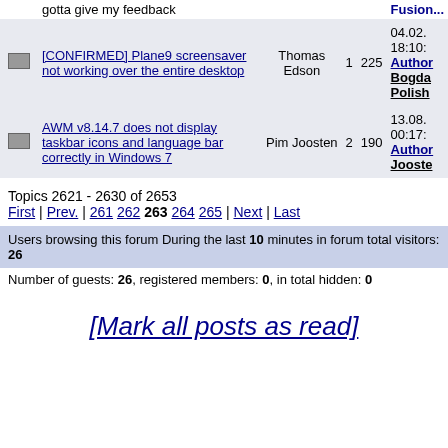|  | Topic | Author | Replies | Views | Last Post |
| --- | --- | --- | --- | --- | --- |
| [icon] | gotta give my feedback |  |  |  | Fusion... |
| [icon] | [CONFIRMED] Plane9 screensaver not working over the entire desktop | Thomas Edson | 1 | 225 | 04.02. 18:10: Author Bogda Polish |
| [icon] | AWM v8.14.7 does not display taskbar icons and language bar correctly in Windows 7 | Pim Joosten | 2 | 190 | 13.08. 00:17: Author Jooste |
Topics 2621 - 2630 of 2653
First | Prev. | 261 262 263 264 265 | Next | Last
Users browsing this forum During the last 10 minutes in forum total visitors: 26
Number of guests: 26, registered members: 0, in total hidden: 0
[Mark all posts as read]